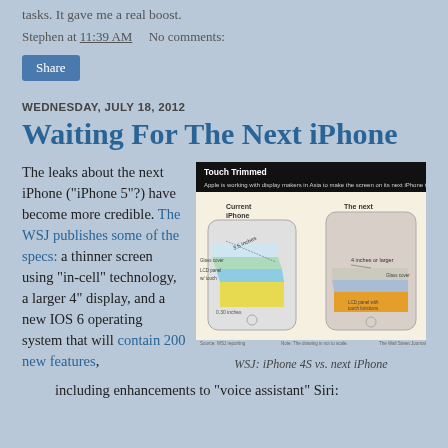tasks. It gave me a real boost.
Stephen at 11:39 AM    No comments:
Share
WEDNESDAY, JULY 18, 2012
Waiting For The Next iPhone
The leaks about the next iPhone ("iPhone 5"?) have become more credible. The WSJ publishes some of the specs: a thinner screen using "in-cell" technology, a larger 4" display, and a new IOS 6 operating system that will contain 200 new features,
[Figure (illustration): WSJ diagram comparing Current iPhone and The next iPhone showing Touch Trimmed screen layers including Glass cover, LCD panel with touch functions. Current iPhone shows 3.5 inches, next shows 4 inches or larger.]
WSJ: iPhone 4S vs. next iPhone
including enhancements to "voice assistant" Siri: